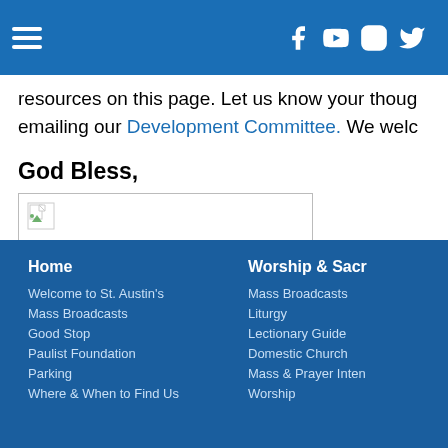[navigation bar with hamburger menu and social icons: Facebook, YouTube, Instagram, Twitter]
resources on this page. Let us know your thoug emailing our Development Committee. We welc
God Bless,
[Figure (photo): Broken image placeholder with file icon in top left corner, white background, gray border]
Home | Welcome to St. Austin's | Mass Broadcasts | Good Stop | Paulist Foundation | Parking | Where & When to Find Us || Worship & Sacr | Mass Broadcasts | Liturgy | Lectionary Guide | Domestic Church | Mass & Prayer Inten | Worship